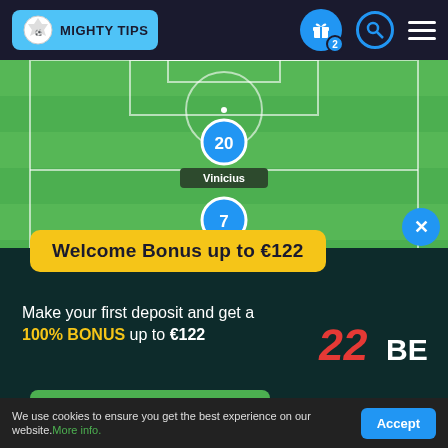MIGHTY TIPS
[Figure (screenshot): Soccer/football field with player tokens numbered 20 (Vinicius) and 7 (Lucas) positioned on green pitch]
Welcome Bonus up to €122
Make your first deposit and get a 100% BONUS up to €122
[Figure (logo): 22BET logo in red and white]
CLAIM THE BONUS
We use cookies to ensure you get the best experience on our website. More info.